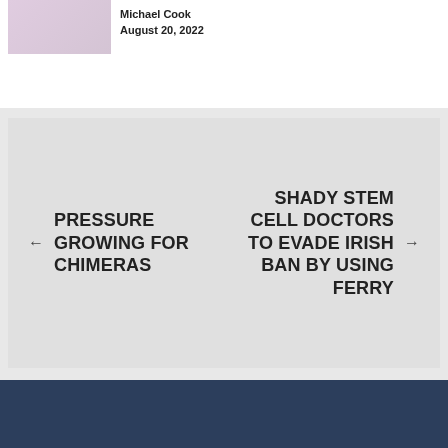Michael Cook
August 20, 2022
← PRESSURE GROWING FOR CHIMERAS
SHADY STEM CELL DOCTORS TO EVADE IRISH BAN BY USING FERRY →